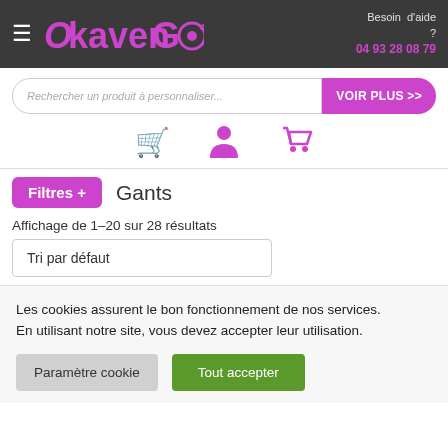OkavenGo — Besoin d'aide ? 04 93 28 08 79
[Figure (screenshot): Search bar with placeholder 'Rechercher un produit à personnaliser...' and purple 'VOIR PLUS >>' button]
[Figure (infographic): Three icons: black shopping cart, purple user/person, purple shopping cart]
Filtres + Gants
Affichage de 1–20 sur 28 résultats
Tri par défaut
Les cookies assurent le bon fonctionnement de nos services. En utilisant notre site, vous devez accepter leur utilisation.
Paramètre cookie   Tout accepter